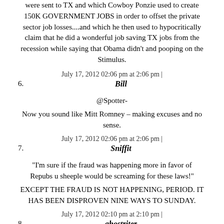were sent to TX and which Cowboy Ponzie used to create 150K GOVERNMENT JOBS in order to offset the private sector job losses....and which he then used to hypocritically claim that he did a wonderful job saving TX jobs from the recession while saying that Obama didn't and pooping on the Stimulus.
July 17, 2012 02:06 pm at 2:06 pm |
6. Bill
@Spotter-
Now you sound like Mitt Romney – making excuses and no sense.
July 17, 2012 02:06 pm at 2:06 pm |
7. Sniffit
"I'm sure if the fraud was happening more in favor of Repubs u sheeple would be screaming for these laws!"
EXCEPT THE FRAUD IS NOT HAPPENING, PERIOD. IT HAS BEEN DISPROVEN NINE WAYS TO SUNDAY.
July 17, 2012 02:10 pm at 2:10 pm |
8. ghostriter